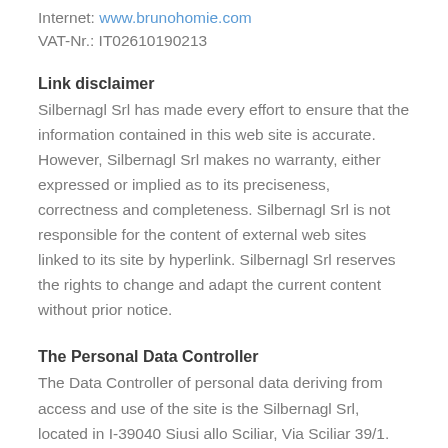Internet: www.brunohomie.com
VAT-Nr.: IT02610190213
Link disclaimer
Silbernagl Srl has made every effort to ensure that the information contained in this web site is accurate. However, Silbernagl Srl makes no warranty, either expressed or implied as to its preciseness, correctness and completeness. Silbernagl Srl is not responsible for the content of external web sites linked to its site by hyperlink. Silbernagl Srl reserves the rights to change and adapt the current content without prior notice.
The Personal Data Controller
The Data Controller of personal data deriving from access and use of the site is the Silbernagl Srl, located in I-39040 Siusi allo Sciliar, Via Sciliar 39/1. The data protection commissioner is Mr.